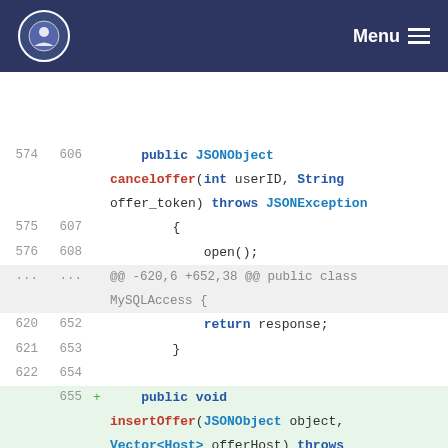Menu
[Figure (screenshot): Code diff view showing Java methods canceloffer and insertOffer in a web-based code viewer with line numbers, diff markers, and syntax highlighting.]